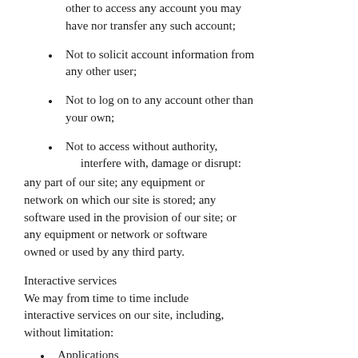other to access any account you may have nor transfer any such account;
Not to solicit account information from any other user;
Not to log on to any account other than your own;
Not to access without authority, interfere with, damage or disrupt: any part of our site; any equipment or network on which our site is stored; any software used in the provision of our site; or any equipment or network or software owned or used by any third party.
Interactive services
We may from time to time include interactive services on our site, including, without limitation:
Applications
Classes, events & workshops